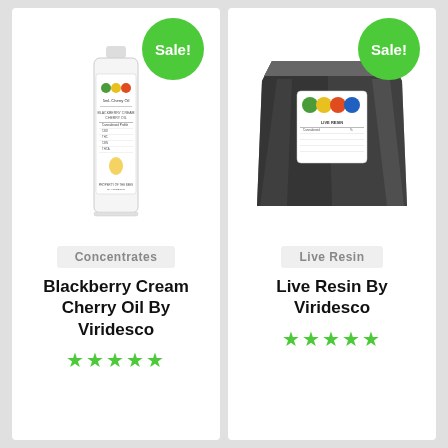[Figure (photo): Product card for Blackberry Cream Cherry Oil by Viridesco with green Sale! badge, product photo of white cylindrical bottle with label, category tag Concentrates, bold product title, and star rating]
[Figure (photo): Product card for Live Resin by Viridesco with green Sale! badge, product photo of metallic black sealed bag with colorful label sticker, category tag Live Resin, bold product title, and star rating]